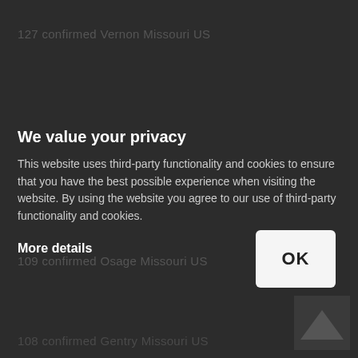127 confirmed Vernon Missouri US
127 confirmed Randolph Missouri US
109 confirmed Osage Missouri US
108 confirmed Gentry Missouri US
104 confirmed Macon Missouri US
We value your privacy
This website uses third-party functionality and cookies to ensure that you have the best possible experience when visiting the website. By using the website you agree to our use of third-party functionality and cookies.
More details